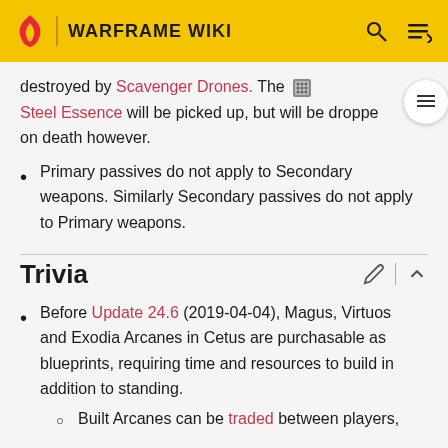WARFRAME WIKI
destroyed by Scavenger Drones. The Steel Essence will be picked up, but will be dropped on death however.
Primary passives do not apply to Secondary weapons. Similarly Secondary passives do not apply to Primary weapons.
Trivia
Before Update 24.6 (2019-04-04), Magus, Virtuos and Exodia Arcanes in Cetus are purchasable as blueprints, requiring time and resources to build in addition to standing.
Built Arcanes can be traded between players,